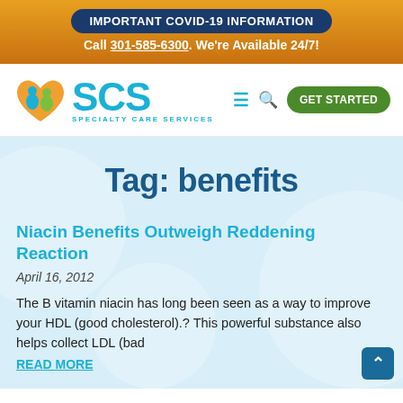IMPORTANT COVID-19 INFORMATION
Call 301-585-6300. We're Available 24/7!
[Figure (logo): SCS Specialty Care Services logo with heart icon containing two figures]
Tag: benefits
Niacin Benefits Outweigh Reddening Reaction
April 16, 2012
The B vitamin niacin has long been seen as a way to improve your HDL (good cholesterol).? This powerful substance also helps collect LDL (bad
READ MORE